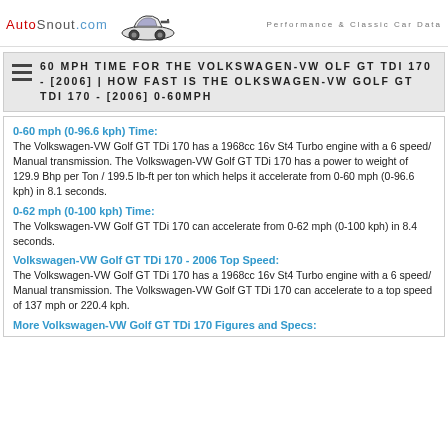AutoSnout.com   Performance & Classic Car Data
60 MPH TIME FOR THE VOLKSWAGEN-VW OLF GT TDI 170 - [2006] | HOW FAST IS THE OLKSWAGEN-VW GOLF GT TDI 170 - [2006] 0-60MPH
0-60 mph (0-96.6 kph) Time:
The Volkswagen-VW Golf GT TDi 170 has a 1968cc 16v St4 Turbo engine with a 6 speed/ Manual transmission. The Volkswagen-VW Golf GT TDi 170 has a power to weight of 129.9 Bhp per Ton / 199.5 lb-ft per ton which helps it accelerate from 0-60 mph (0-96.6 kph) in 8.1 seconds.
0-62 mph (0-100 kph) Time:
The Volkswagen-VW Golf GT TDi 170 can accelerate from 0-62 mph (0-100 kph) in 8.4 seconds.
Volkswagen-VW Golf GT TDi 170 - 2006 Top Speed:
The Volkswagen-VW Golf GT TDi 170 has a 1968cc 16v St4 Turbo engine with a 6 speed/ Manual transmission. The Volkswagen-VW Golf GT TDi 170 can accelerate to a top speed of 137 mph or 220.4 kph.
More Volkswagen-VW Golf GT TDi 170 Figures and Specs: